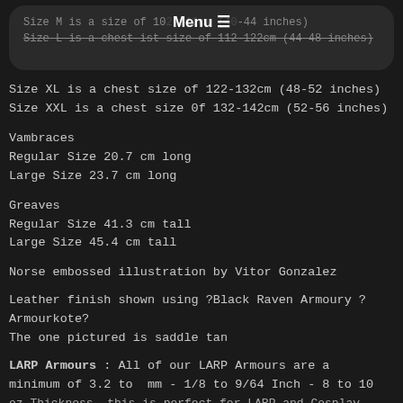Size M is a size of 102-112cm (40-44 inches)
Size L is a chest ist size of 112-122cm (44-48 inches)
Size XL is a chest size of 122-132cm (48-52 inches)
Size XXL is a chest size 0f 132-142cm (52-56 inches)
Vambraces
Regular Size 20.7 cm long
Large Size 23.7 cm long
Greaves
Regular Size 41.3 cm tall
Large Size 45.4 cm tall
Norse embossed illustration by Vitor Gonzalez
Leather finish shown using ?Black Raven Armoury ? Armourkote?
The one pictured is saddle tan
LARP Armours : All of our LARP Armours are a minimum of 3.2 to  mm - 1/8 to 9/64 Inch - 8 to 10 oz Thickness, this is perfect for LARP and Cosplay